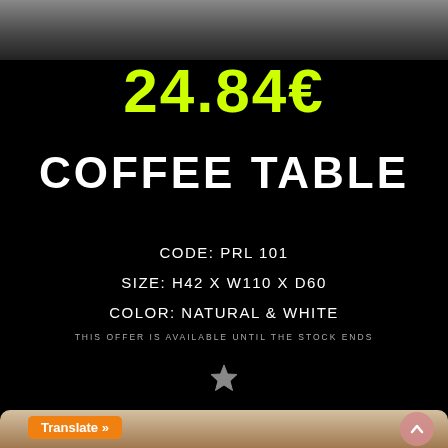[Figure (photo): Top portion of a product photo showing a coffee table on dark background]
24.84€
COFFEE TABLE
CODE: PRL 101
SIZE: H42 X W110 X D60
COLOR: NATURAL & WHITE
THIS OFFER IS AVAILABLE UNTIL THE STOCK ENDS
[Figure (illustration): Grey star icon (favorites/bookmark star)]
[Figure (photo): Bottom cropped product photo showing furniture, partially visible with orange Translate button and scroll-to-top button overlaid]